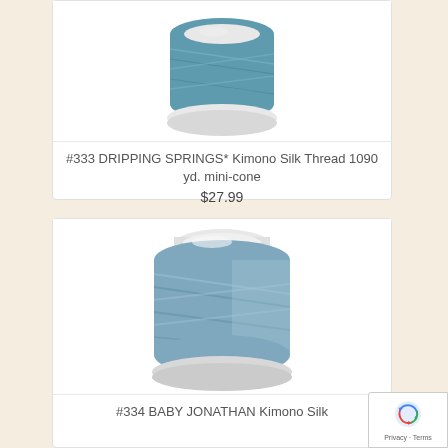[Figure (photo): Spool of teal/steel blue Kimono Silk Thread #333 Dripping Springs, mini-cone shape with white base, shown from above at slight angle]
#333 DRIPPING SPRINGS* Kimono Silk Thread 1090 yd. mini-cone
$27.99
[Figure (photo): Spool of blue-gray/baby blue Kimono Silk Thread #334 Baby Jonathan, larger cone shape with white base, shown from slight angle]
#334 BABY JONATHAN Kimono Silk